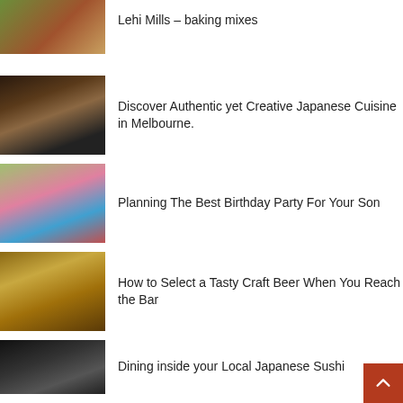[Figure (photo): Partial thumbnail of baking/plants image at top]
Lehi Mills – baking mixes
[Figure (photo): Top-down view of Japanese sushi and food spread]
Discover Authentic yet Creative Japanese Cuisine in Melbourne.
[Figure (photo): Children at a colorful birthday party]
Planning The Best Birthday Party For Your Son
[Figure (photo): Beer bottle and glass on wooden surface]
How to Select a Tasty Craft Beer When You Reach the Bar
[Figure (photo): Japanese sushi restaurant interior, partial]
Dining inside your Local Japanese Sushi